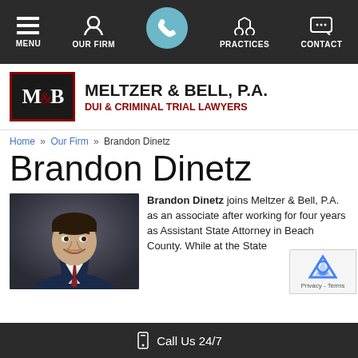MENU | OUR FIRM | [Phone] | PRACTICES | CONTACT
[Figure (logo): Meltzer & Bell P.A. logo with M&B monogram in dark box with red border]
MELTZER & BELL, P.A. DUI & CRIMINAL TRIAL LAWYERS
Home » Our Firm » Brandon Dinetz
Brandon Dinetz
[Figure (photo): Professional headshot of Brandon Dinetz in suit and tie, smiling]
Brandon Dinetz joins Meltzer & Bell, P.A. as an associate after working for four years as Assistant State Attorney in Beach County. While at the State
Call Us 24/7